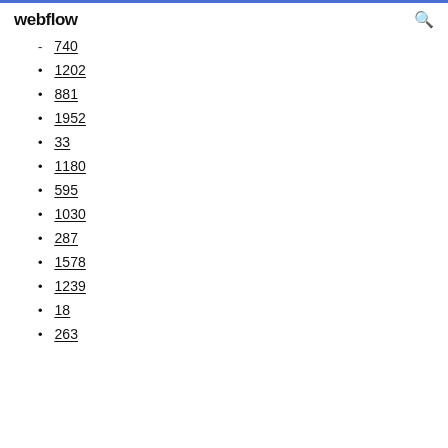webflow
740
1202
881
1952
33
1180
595
1030
287
1578
1239
18
263